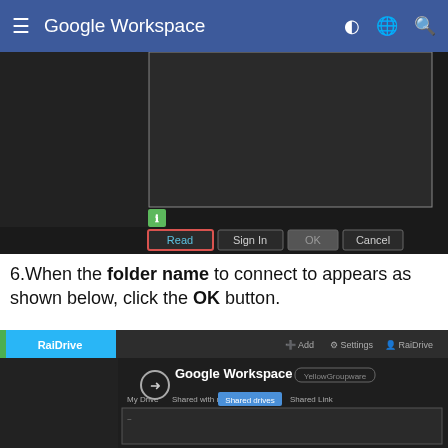Google Workspace
[Figure (screenshot): Dark UI showing a dialog with buttons: Read (highlighted in red), Sign In, OK (grayed), Cancel, and a small green file icon below a large dark content area with a white-bordered panel.]
6.When the folder name to connect to appears as shown below, click the OK button.
[Figure (screenshot): RaiDrive application window showing Google Workspace with tabs: My Drive, Shared with me, Shared drives (active), Shared Link, displaying a large dark content area below.]